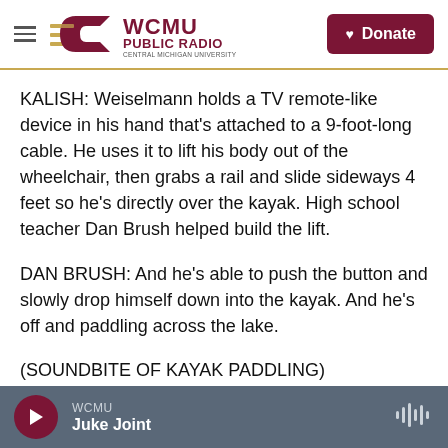WCMU Public Radio – Central Michigan University
KALISH: Weiselmann holds a TV remote-like device in his hand that's attached to a 9-foot-long cable. He uses it to lift his body out of the wheelchair, then grabs a rail and slide sideways 4 feet so he's directly over the kayak. High school teacher Dan Brush helped build the lift.
DAN BRUSH: And he's able to push the button and slowly drop himself down into the kayak. And he's off and paddling across the lake.
(SOUNDBITE OF KAYAK PADDLING)
WCMU – Juke Joint